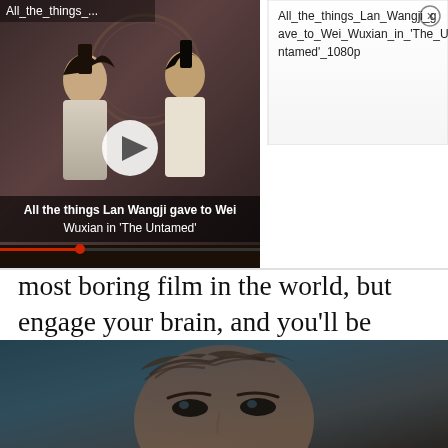[Figure (screenshot): A video thumbnail showing two characters from 'The Untamed', with a play button overlay. Label reads 'All_the_things_...' at top left. Video caption reads: 'All the things Lan Wangji gave to Wei Wuxian in The Untamed'. An info panel to the right shows the full title: 'All_the_things_Lan_Wangji_gave_to_Wei_Wuxian_in_The_Untamed_1080p' with a close (X) button.]
most boring film in the world, but engage your brain, and you'll be carried full-throttle into one of New York's longest standing institutions.
Good Time
[Figure (photo): Close-up photo of a person's face, partially obscured, blue-teal toned background. Only eyes and hair visible.]